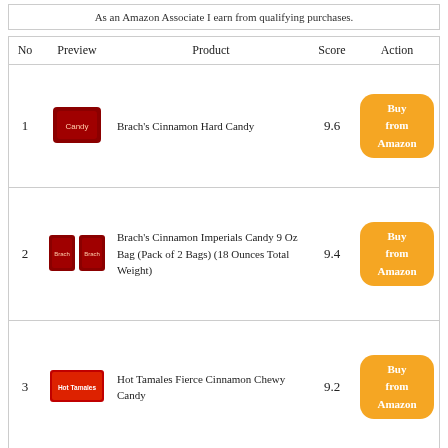As an Amazon Associate I earn from qualifying purchases.
| No | Preview | Product | Score | Action |
| --- | --- | --- | --- | --- |
| 1 | [image: Brach's Cinnamon Hard Candy] | Brach's Cinnamon Hard Candy | 9.6 | Buy from Amazon |
| 2 | [image: Brach's Cinnamon Imperials Candy] | Brach's Cinnamon Imperials Candy 9 Oz Bag (Pack of 2 Bags) (18 Ounces Total Weight) | 9.4 | Buy from Amazon |
| 3 | [image: Hot Tamales Fierce Cinnamon Chewy Candy] | Hot Tamales Fierce Cinnamon Chewy Candy | 9.2 | Buy from Amazon |